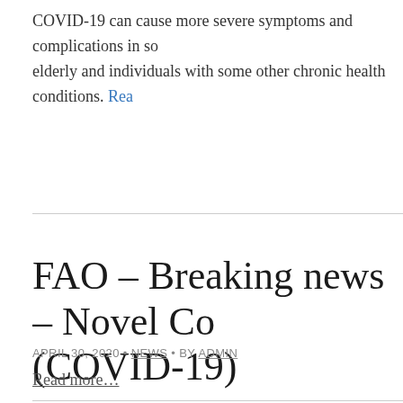COVID-19 can cause more severe symptoms and complications in some elderly and individuals with some other chronic health conditions. Read more…
FAO – Breaking news – Novel Co… (COVID-19)
APRIL 30, 2020 • NEWS • BY ADMIN
Read more…
WHO updates on COVID-19